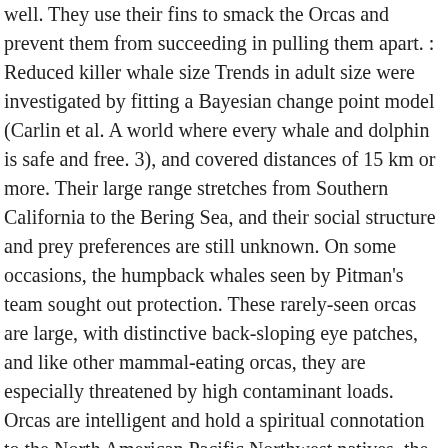well. They use their fins to smack the Orcas and prevent them from succeeding in pulling them apart. : Reduced killer whale size Trends in adult size were investigated by fitting a Bayesian change point model (Carlin et al. A world where every whale and dolphin is safe and free. 3), and covered distances of 15 km or more. Their large range stretches from Southern California to the Bering Sea, and their social structure and prey preferences are still unknown. On some occasions, the humpback whales seen by Pitman's team sought out protection. These rarely-seen orcas are large, with distinctive back-sloping eye patches, and like other mammal-eating orcas, they are especially threatened by high contaminant loads. Orcas are intelligent and hold a spiritual connotation to the North American Pacific Northwest natives, the Maritime Archaic people of Canada's Newfoundland and to the Siberian Yupik culture of Russia. At eight to 10 meters (27-33 feet) long and 3,600-5,400 kilograms (8,000-12,000 pounds), these stocky black and white spotted predators group together in pods of six to 40 orcas to systematically hunt fish, squid, seals and even whales that are larger than orcas. Research by the Far East Russia Orca Project (FEROP) has shown that fish-eating orcas